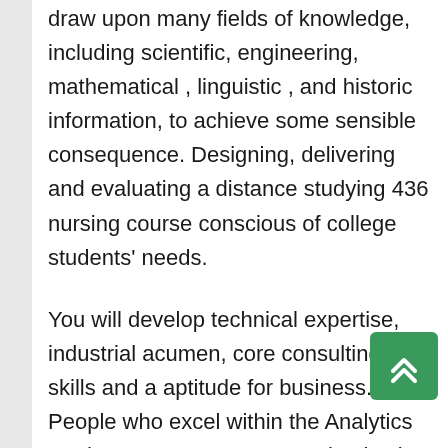draw upon many fields of knowledge, including scientific, engineering, mathematical , linguistic , and historic information, to achieve some sensible consequence. Designing, delivering and evaluating a distance studying 436 nursing course conscious of college students' needs.
You will develop technical expertise, industrial acumen, core consulting skills and a aptitude for business. People who excel within the Analytics graduate programme are enthusiastic about